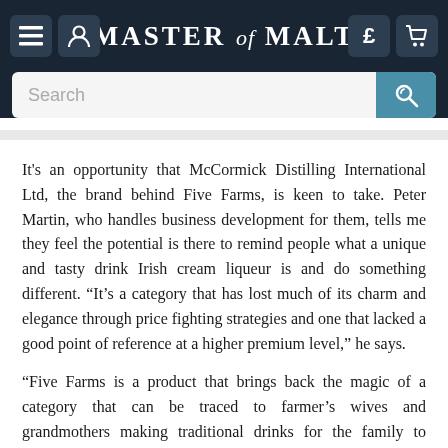MASTER of MALT
It's an opportunity that McCormick Distilling International Ltd, the brand behind Five Farms, is keen to take. Peter Martin, who handles business development for them, tells me they feel the potential is there to remind people what a unique and tasty drink Irish cream liqueur is and do something different. “It’s a category that has lost much of its charm and elegance through price fighting strategies and one that lacked a good point of reference at a higher premium level,” he says.
“Five Farms is a product that brings back the magic of a category that can be traced to farmer’s wives and grandmothers making traditional drinks for the family to enjoy. Five Farms boasts the provenance of Cork, which has